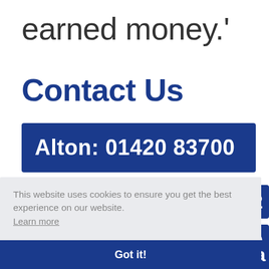earned money.'
Contact Us
Alton: 01420 83700
This website uses cookies to ensure you get the best experience on our website. Learn more
Got it!